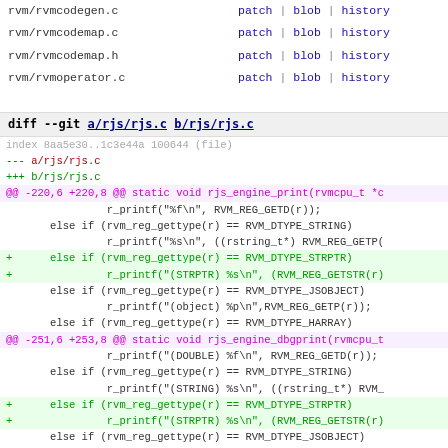rvm/rvmcodegen.c   patch | blob | history
rvm/rvmcodemap.c   patch | blob | history
rvm/rvmcodemap.h   patch | blob | history
rvm/rvmoperator.c  patch | blob | history
diff --git a/rjs/rjs.c b/rjs/rjs.c
index 8aa5e30..1c3e44a 100644 (file)
--- a/rjs/rjs.c
+++ b/rjs/rjs.c
@@ -220,6 +220,8 @@ static void rjs_engine_print(rvmcpu_t *c
                r_printf("%f\n", RVM_REG_GETD(r));
        else if (rvm_reg_gettype(r) == RVM_DTYPE_STRING)
                r_printf("%s\n", ((rstring_t*) RVM_REG_GETP(
+       else if (rvm_reg_gettype(r) == RVM_DTYPE_STRPTR)
+               r_printf("(STRPTR) %s\n", (RVM_REG_GETSTR(r)
        else if (rvm_reg_gettype(r) == RVM_DTYPE_JSOBJECT)
                r_printf("(object) %p\n",RVM_REG_GETP(r));
        else if (rvm_reg_gettype(r) == RVM_DTYPE_HARRAY)
@@ -251,6 +253,8 @@ static void rjs_engine_dbgprint(rvmcpu_t
                r_printf("(DOUBLE) %f\n", RVM_REG_GETD(r));
        else if (rvm_reg_gettype(r) == RVM_DTYPE_STRING)
                r_printf("(STRING) %s\n", ((rstring_t*) RVM_
+       else if (rvm_reg_gettype(r) == RVM_DTYPE_STRPTR)
+               r_printf("(STRPTR) %s\n", (RVM_REG_GETSTR(r)
        else if (rvm_reg_gettype(r) == RVM_DTYPE_JSOBJECT)
                r_printf("(object) %p\n",RVM_REG_GETP(r));
        else if (rvm_reg_gettype(r) == RVM_DTYPE_HARRAY)
diff --git a/rjs/rjscompiler.c b/rjs/rjscompiler.c